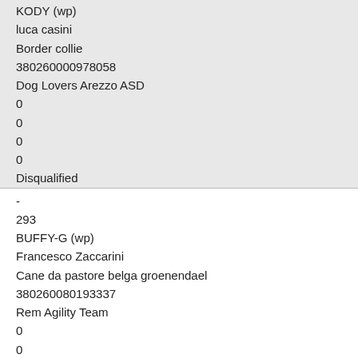KODY (wp)
luca casini
Border collie
380260000978058
Dog Lovers Arezzo ASD
0
0
0
0
Disqualified
-
293
BUFFY-G (wp)
Francesco Zaccarini
Cane da pastore belga groenendael
380260080193337
Rem Agility Team
0
0
0